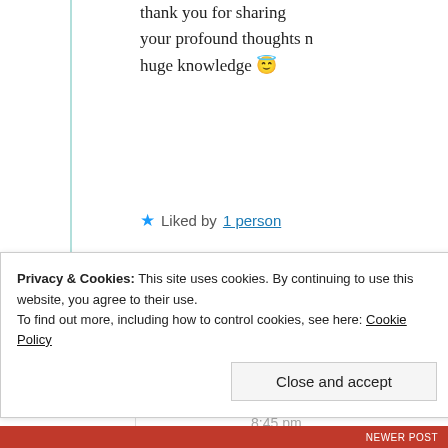thank you for sharing your profound thoughts n huge knowledge 😇
★ Liked by 1 person
alec.martin.fraher
24th Aug 2021 at 8:45 pm
Privacy & Cookies: This site uses cookies. By continuing to use this website, you agree to their use. To find out more, including how to control cookies, see here: Cookie Policy
Close and accept